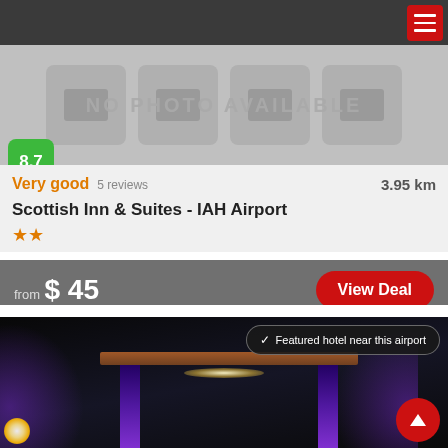[Figure (screenshot): Mobile app navigation bar with dark background and red hamburger menu button at top right]
[Figure (photo): Hotel listing card with no photo available placeholder, score badge 8.7 in green]
Very good  5 reviews  3.95 km
Scottish Inn & Suites - IAH Airport
from $ 45
View Deal
[Figure (photo): Night photo of hotel entrance with purple lighting and illuminated canopy, showing featured hotel badge and scroll-up button]